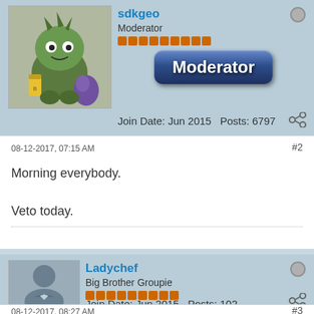[Figure (photo): Monster cartoon avatar for user sdkgeo]
sdkgeo
Moderator
[Figure (illustration): Orange reputation pips bar]
[Figure (illustration): Moderator badge button with dark blue rounded rectangle and white bold text]
Join Date: Jun 2015   Posts: 6797
08-12-2017, 07:15 AM
#2
Morning everybody.

Veto today.
[Figure (photo): Generic silhouette avatar for user Ladychef]
Ladychef
Big Brother Groupie
[Figure (illustration): Orange reputation pips bar]
Join Date: Jun 2015   Posts: 102
08-12-2017, 08:27 AM
#3